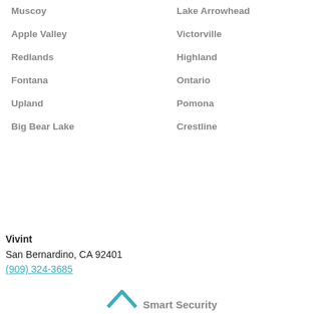Muscoy
Lake Arrowhead
Apple Valley
Victorville
Redlands
Highland
Fontana
Ontario
Upland
Pomona
Big Bear Lake
Crestline
Vivint
San Bernardino, CA 92401
(909) 324-3685